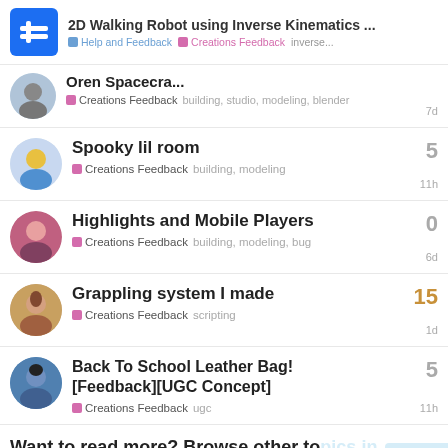2D Walking Robot using Inverse Kinematics ... | Help and Feedback | Creations Feedback | inverse...
Oren Spacecra...
Creations Feedback  building, studio, modeling, blender  7d
Spooky lil room
Creations Feedback  building, modeling  11h  5
Highlights and Mobile Players
Creations Feedback  building, modeling, bug  6d  0
Grappling system I made
Creations Feedback  scripting  1d  15
Back To School Leather Bag! [Feedback][UGC Concept]
Creations Feedback  ugc  11h  5
Want to read more? Browse other topics in Creations Feedback or view latest
4 / 4